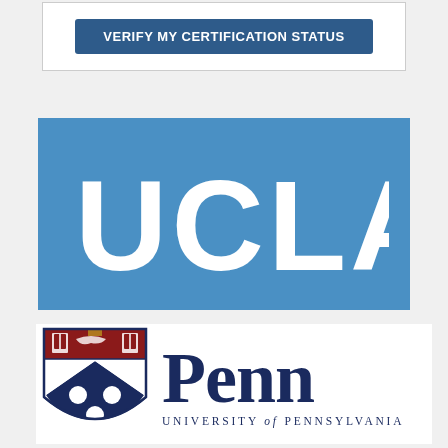[Figure (other): Button labeled VERIFY MY CERTIFICATION STATUS on a white panel with gray border]
[Figure (logo): UCLA logo: white text UCLA on blue rectangular background]
[Figure (logo): University of Pennsylvania logo: Penn shield crest with dark red top and navy blue chevron, beside Penn wordmark and UNIVERSITY of PENNSYLVANIA text]